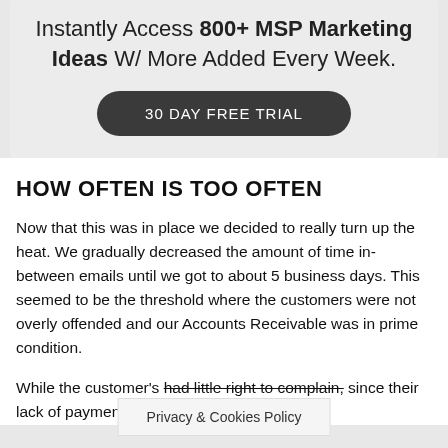Instantly Access 800+ MSP Marketing Ideas W/ More Added Every Week.
30 DAY FREE TRIAL
HOW OFTEN IS TOO OFTEN
Now that this was in place we decided to really turn up the heat. We gradually decreased the amount of time in-between emails until we got to about 5 business days. This seemed to be the threshold where the customers were not overly offended and our Accounts Receivable was in prime condition.
While the customer's had little right to complain, since their lack of payment of
Privacy & Cookies Policy